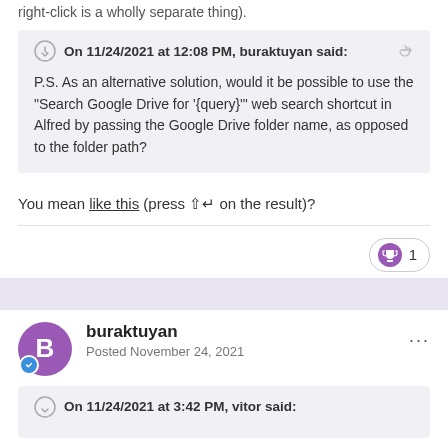right-click is a wholly separate thing).
On 11/24/2021 at 12:08 PM, buraktuyan said:
P.S. As an alternative solution, would it be possible to use the "Search Google Drive for '{query}'" web search shortcut in Alfred by passing the Google Drive folder name, as opposed to the folder path?
You mean like this (press ⇧↵ on the result)?
buraktuyan
Posted November 24, 2021
On 11/24/2021 at 3:42 PM, vitor said: